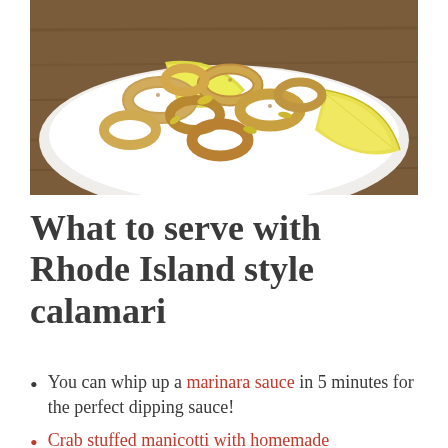[Figure (photo): Plate of Rhode Island style fried calamari rings with lemon wedges and golden peppers on a white plate, photographed from above on a wooden surface.]
What to serve with Rhode Island style calamari
You can whip up a marinara sauce in 5 minutes for the perfect dipping sauce!
Crab stuffed manicotti with homemade